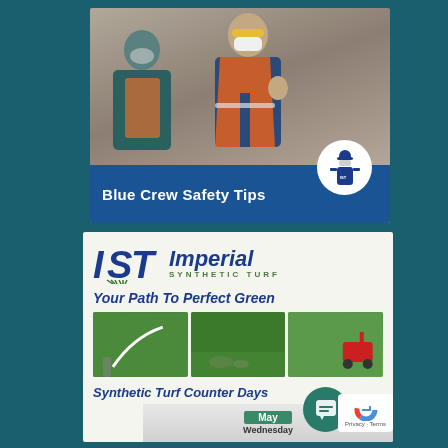[Figure (photo): Two workers wearing safety vests, hard hats, and face masks in conversation. Blue banner at bottom reads 'Blue Crew Safety Tips' with a worker icon in a white circle.]
[Figure (infographic): Imperial Synthetic Turf advertisement. Logo with IST letters and 'Imperial Synthetic Turf' branding. Tagline 'Your Path To Perfect Green'. Three photos of synthetic turf installation. Text 'Synthetic Turf Counter Days' with a calendar showing May Wednesday. Chat bubble icon and privacy badge visible.]